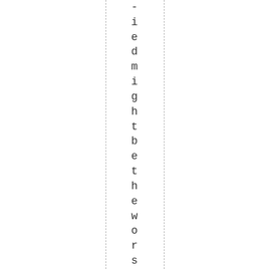i e d m i g h t b e t h e w o r s t t h i n g t h